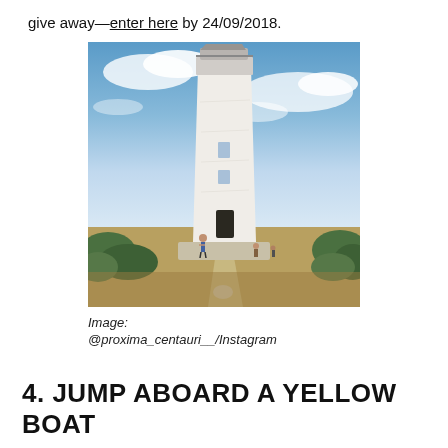give away—enter here by 24/09/2018.
[Figure (photo): A tall white lighthouse tower against a partly cloudy blue sky, with people standing near the base and green shrubs at the bottom.]
Image:
@proxima_centauri__/Instagram
4. JUMP ABOARD A YELLOW BOAT